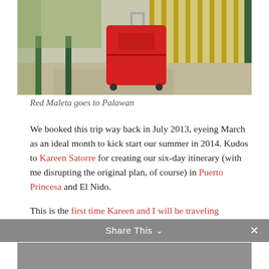[Figure (photo): Red wheeled suitcase (maleta) standing on a concrete floor in front of a yellow-green slatted bench/fence area outdoors]
Red Maleta goes to Palawan
We booked this trip way back in July 2013, eyeing March as an ideal month to kick start our summer in 2014. Kudos to Kareen Satorre for creating our six-day itinerary (with me disrupting the original plan, of course) in Puerto Princesa and El Nido.
This is the first time Kareen and I will be traveling together.
Share This ∨  ✕
[Figure (photo): Partial bottom photo, cut off — appears to be another travel scene]